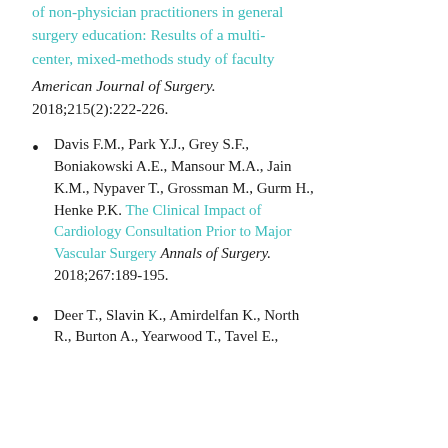...the promise and promise of non-physician practitioners in general surgery education: Results of a multi-center, mixed-methods study of faculty American Journal of Surgery. 2018;215(2):222-226.
Davis F.M., Park Y.J., Grey S.F., Boniakowski A.E., Mansour M.A., Jain K.M., Nypaver T., Grossman M., Gurm H., Henke P.K. The Clinical Impact of Cardiology Consultation Prior to Major Vascular Surgery Annals of Surgery. 2018;267:189-195.
Deer T., Slavin K., Amirdelfan K., North R., Burton A., Yearwood T., Tavel E.,